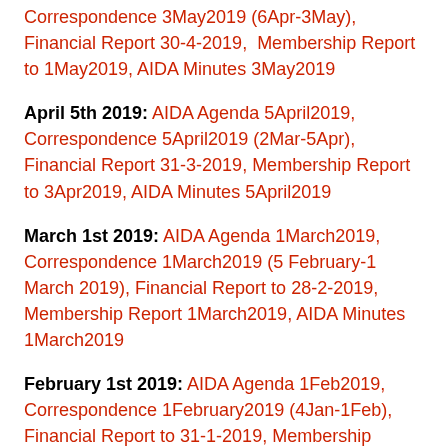Correspondence 3May2019 (6Apr-3May), Financial Report 30-4-2019, Membership Report to 1May2019, AIDA Minutes 3May2019
April 5th 2019: AIDA Agenda 5April2019, Correspondence 5April2019 (2Mar-5Apr), Financial Report 31-3-2019, Membership Report to 3Apr2019, AIDA Minutes 5April2019
March 1st 2019: AIDA Agenda 1March2019, Correspondence 1March2019 (5 February-1 March 2019), Financial Report to 28-2-2019, Membership Report 1March2019, AIDA Minutes 1March2019
February 1st 2019: AIDA Agenda 1Feb2019, Correspondence 1February2019 (4Jan-1Feb), Financial Report to 31-1-2019, Membership...